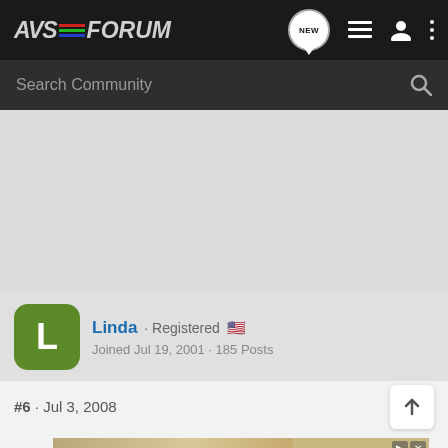AVSForum — navigation bar with NEW, list, user, and more icons
Search Community
[Figure (other): Gray advertisement/content placeholder area]
Linda · Registered 🇺🇸
Joined Jul 19, 2001 · 185 Posts
#6 · Jul 3, 2008
[Figure (other): Vengeance movie advertisement banner: IN THEATERS AND ON DEMAND NOW — WATCH NOW]